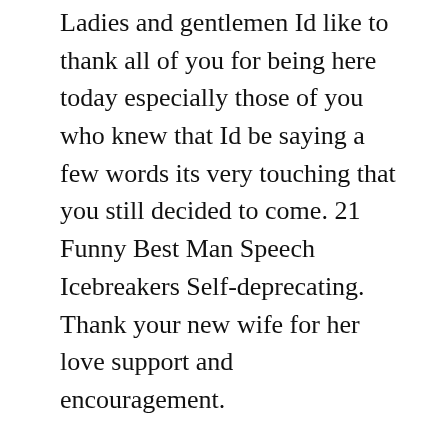Ladies and gentlemen Id like to thank all of you for being here today especially those of you who knew that Id be saying a few words its very touching that you still decided to come. 21 Funny Best Man Speech Icebreakers Self-deprecating. Thank your new wife for her love support and encouragement.
16082018 A Best Man is like a dog. Thank the bridesmaids praise their beautiful appearance and give a toast. Its that simple people.
A true gift for the groom or bride Be a gentleman and give the bride and groom a gift. Speaking about the groom is the main part of your best man speech so its a great chance to build up the